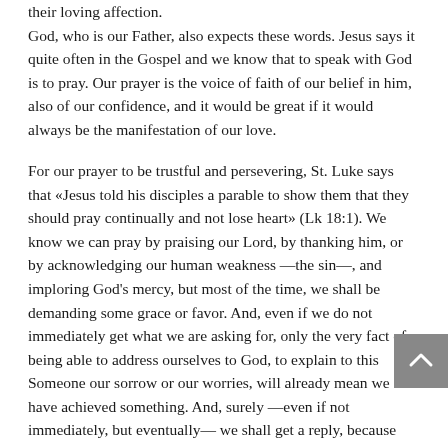their loving affection.
God, who is our Father, also expects these words. Jesus says it quite often in the Gospel and we know that to speak with God is to pray. Our prayer is the voice of faith of our belief in him, also of our confidence, and it would be great if it would always be the manifestation of our love.
For our prayer to be trustful and persevering, St. Luke says that «Jesus told his disciples a parable to show them that they should pray continually and not lose heart» (Lk 18:1). We know we can pray by praising our Lord, by thanking him, or by acknowledging our human weakness —the sin—, and imploring God's mercy, but most of the time, we shall be demanding some grace or favor. And, even if we do not immediately get what we are asking for, only the very fact of being able to address ourselves to God, to explain to this Someone our sorrow or our worries, will already mean we have achieved something. And, surely —even if not immediately, but eventually— we shall get a reply, because